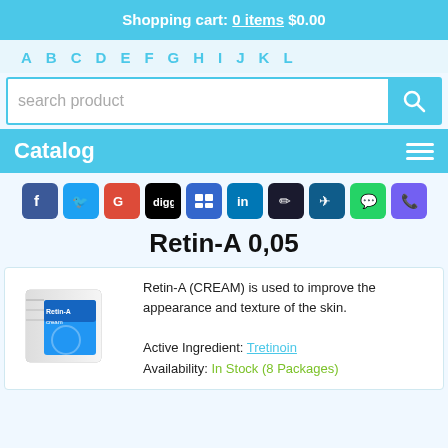Shopping cart: 0 items $0.00
A B C D E F G H I J K L
search product
Catalog
[Figure (other): Row of social media share icons: Facebook, Twitter, Google+, Digg, Delicious, LinkedIn, Penzu, Fluttr, WhatsApp, Viber]
Retin-A 0,05
[Figure (photo): Product image of Retin-A cream box packaging, blue and white box]
Retin-A (CREAM) is used to improve the appearance and texture of the skin.
Active Ingredient: Tretinoin
Availability: In Stock (8 Packages)